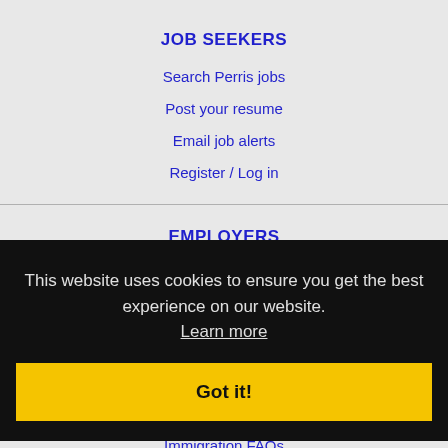JOB SEEKERS
Search Perris jobs
Post your resume
Email job alerts
Register / Log in
EMPLOYERS
Post jobs
Advertising
IMMIGRATION SPECIALISTS
Post jobs
Immigration FAQs
This website uses cookies to ensure you get the best experience on our website. Learn more
Got it!